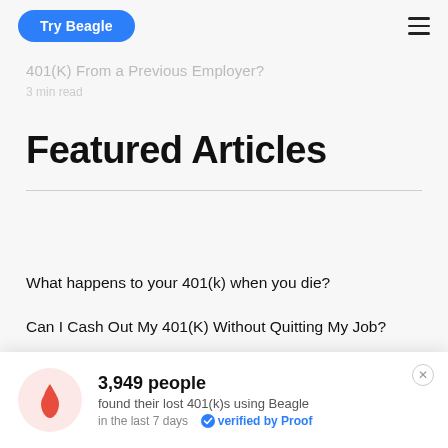Try Beagle
401(K) From a Previous Employer?
3 min read
Featured Articles
What happens to your 401(k) when you die?
Can I Cash Out My 401(K) Without Quitting My Job?
What is the difference between a 401(k) and a...
3,949 people found their lost 401(k)s using Beagle in the last 7 days  verified by Proof